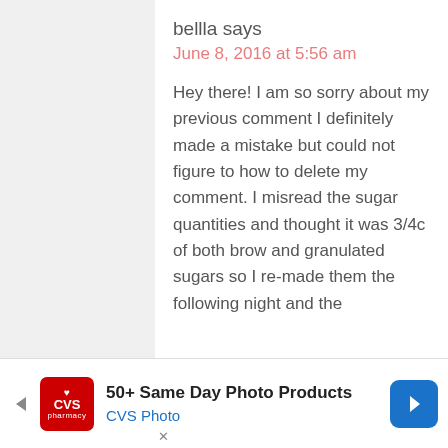bellla says
June 8, 2016 at 5:56 am
Hey there! I am so sorry about my previous comment I definitely made a mistake but could not figure to how to delete my comment. I misread the sugar quantities and thought it was 3/4c of both brow and granulated sugars so I re-made them the following night and the
[Figure (other): Accessibility icon - blue circle with white person figure]
[Figure (other): CVS Photo advertisement banner with CVS pharmacy logo, text '50+ Same Day Photo Products' and 'CVS Photo', blue navigation arrow on right]